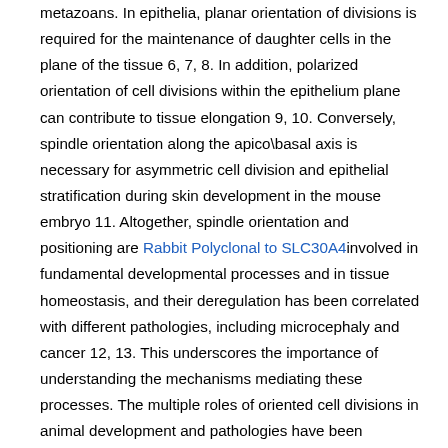metazoans. In epithelia, planar orientation of divisions is required for the maintenance of daughter cells in the plane of the tissue 6, 7, 8. In addition, polarized orientation of cell divisions within the epithelium plane can contribute to tissue elongation 9, 10. Conversely, spindle orientation along the apico\basal axis is necessary for asymmetric cell division and epithelial stratification during skin development in the mouse embryo 11. Altogether, spindle orientation and positioning are Rabbit Polyclonal to SLC30A4 involved in fundamental developmental processes and in tissue homeostasis, and their deregulation has been correlated with different pathologies, including microcephaly and cancer 12, 13. This underscores the importance of understanding the mechanisms mediating these processes. The multiple roles of oriented cell divisions in animal development and pathologies have been reviewed elsewhere 14, 15, 16, 17, 18, 19. The focus of this review was to provide a comprehensive overview of the mechanisms and regulatory inputs of spindle orientation in metazoans. Of note, spindle